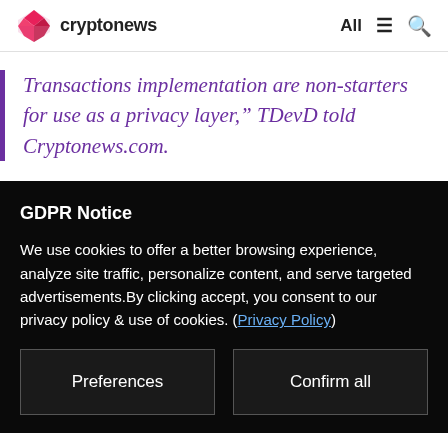cryptonews  All
Transactions implementation are non-starters for use as a privacy layer," TDevD told Cryptonews.com.
GDPR Notice
We use cookies to offer a better browsing experience, analyze site traffic, personalize content, and serve targeted advertisements.By clicking accept, you consent to our privacy policy & use of cookies. (Privacy Policy)
Preferences
Confirm all